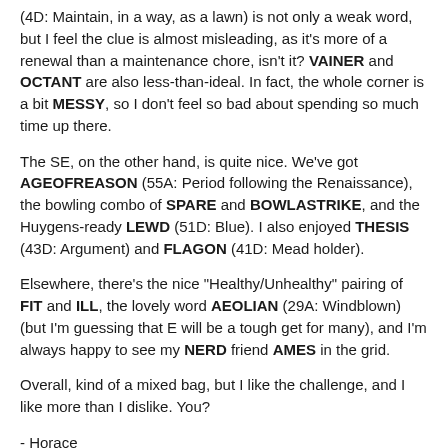(4D: Maintain, in a way, as a lawn) is not only a weak word, but I feel the clue is almost misleading, as it's more of a renewal than a maintenance chore, isn't it? VAINER and OCTANT are also less-than-ideal. In fact, the whole corner is a bit MESSY, so I don't feel so bad about spending so much time up there.
The SE, on the other hand, is quite nice. We've got AGEOFREASON (55A: Period following the Renaissance), the bowling combo of SPARE and BOWLASTRIKE, and the Huygens-ready LEWD (51D: Blue). I also enjoyed THESIS (43D: Argument) and FLAGON (41D: Mead holder).
Elsewhere, there's the nice "Healthy/Unhealthy" pairing of FIT and ILL, the lovely word AEOLIAN (29A: Windblown) (but I'm guessing that E will be a tough get for many), and I'm always happy to see my NERD friend AMES in the grid.
Overall, kind of a mixed bag, but I like the challenge, and I like more than I dislike. You?
- Horace